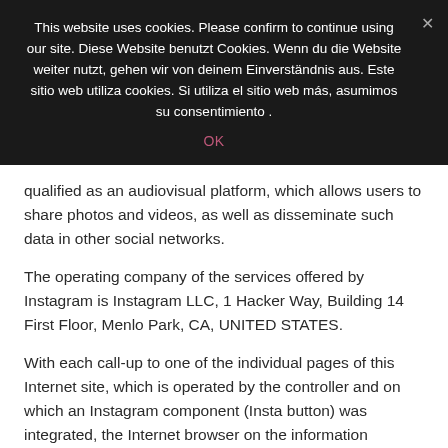This website uses cookies. Please confirm to continue using our site. Diese Website benutzt Cookies. Wenn du die Website weiter nutzt, gehen wir von deinem Einverständnis aus. Este sitio web utiliza cookies. Si utiliza el sitio web más, asumimos su consentimiento .
OK
qualified as an audiovisual platform, which allows users to share photos and videos, as well as disseminate such data in other social networks.
The operating company of the services offered by Instagram is Instagram LLC, 1 Hacker Way, Building 14 First Floor, Menlo Park, CA, UNITED STATES.
With each call-up to one of the individual pages of this Internet site, which is operated by the controller and on which an Instagram component (Insta button) was integrated, the Internet browser on the information